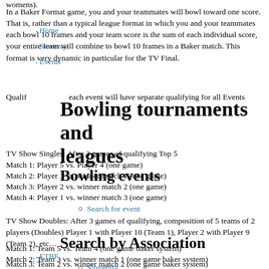womens).
In a Baker Format game, you and your teammates will bowl toward one score. That is, rather than a typical league format in which you and your teammates each bowl 10 frames and your team score is the sum of each individual score, your entire team will combine to bowl 10 frames in a Baker match. This format is very dynamic in particular for the TV Final.
Qualifying criteria: each event will have separate qualifying for all Events
Bowling tournaments and leagues
TV Show Singles: After 3 games of qualifying Top 5
Match 1: Player 5 vs. Player 4 (one game)
Match 2: Player 3 vs. winner match 1 (one game)
Match 3: Player 2 vs. winner match 2 (one game)
Match 4: Player 1 vs. winner match 3 (one game)
Bowling events
Search for event
TV Show Doubles: After 3 games of qualifying, composition of 5 teams of 2 players (Doubles) Player 1 with Player 10 (Team 1), Player 2 with Player 9 (Team 2), etc…
Match 1: Team 5 vs. Team 4 (one game baker system)
Match 2: Team 3 vs. winner match 1 (one game baker system)
Match 3: Team 2 vs. winner match 2 (one game baker system)
Match 4: Team 1 vs. winner match 3 (one game baker system)
Search by Association
ETBF
USBC
Croatia
Slovenija